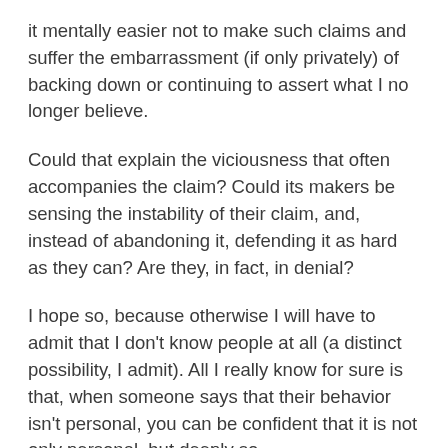it mentally easier not to make such claims and suffer the embarrassment (if only privately) of backing down or continuing to assert what I no longer believe.
Could that explain the viciousness that often accompanies the claim? Could its makers be sensing the instability of their claim, and, instead of abandoning it, defending it as hard as they can? Are they, in fact, in denial?
I hope so, because otherwise I will have to admit that I don't know people at all (a distinct possibility, I admit). All I really know for sure is that, when someone says that their behavior isn't personal, you can be confident that it is not only personal, but deeply so.
January 9, 2010